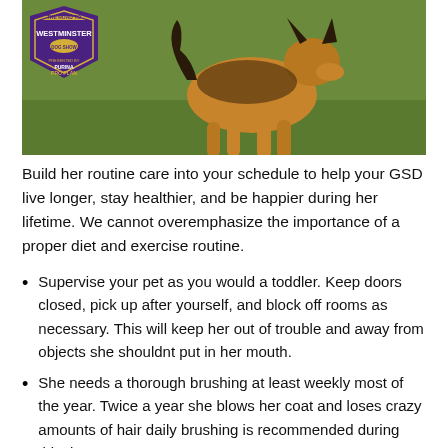[Figure (photo): A German Shepherd dog mid-action on a green field, with a purple Westminster dog show logo badge in the upper left corner reading 'The Road to Westminster' and 'Purina Pro Plan']
Build her routine care into your schedule to help your GSD live longer, stay healthier, and be happier during her lifetime. We cannot overemphasize the importance of a proper diet and exercise routine.
Supervise your pet as you would a toddler. Keep doors closed, pick up after yourself, and block off rooms as necessary. This will keep her out of trouble and away from objects she shouldnt put in her mouth.
She needs a thorough brushing at least weekly most of the year. Twice a year she blows her coat and loses crazy amounts of hair daily brushing is recommended during this time.